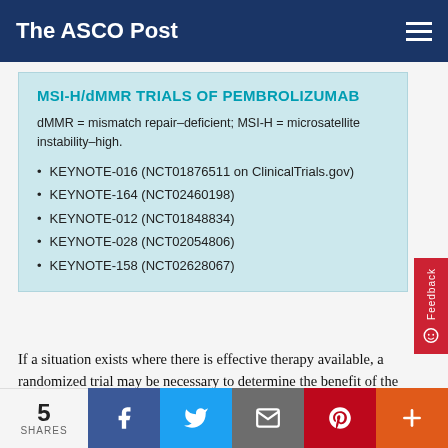The ASCO Post
MSI-H/dMMR TRIALS OF PEMBROLIZUMAB
dMMR = mismatch repair–deficient; MSI-H = microsatellite instability–high.
KEYNOTE-016 (NCT01876511 on ClinicalTrials.gov)
KEYNOTE-164 (NCT02460198)
KEYNOTE-012 (NCT01848834)
KEYNOTE-028 (NCT02054806)
KEYNOTE-158 (NCT02628067)
If a situation exists where there is effective therapy available, a randomized trial may be necessary to determine the benefit of the new drug against the existing therapy. That was not the situation for this approval. The new indication clearly states that pembrolizumab was given accelerated approval for patients with solid tumors
5 SHARES